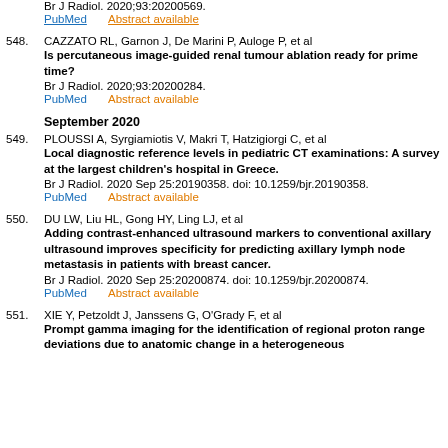Br J Radiol. 2020;93:20200569.
PubMed    Abstract available
548. CAZZATO RL, Garnon J, De Marini P, Auloge P, et al
Is percutaneous image-guided renal tumour ablation ready for prime time?
Br J Radiol. 2020;93:20200284.
PubMed    Abstract available
September 2020
549. PLOUSSI A, Syrgiamiotis V, Makri T, Hatzigiorgi C, et al
Local diagnostic reference levels in pediatric CT examinations: A survey at the largest children's hospital in Greece.
Br J Radiol. 2020 Sep 25:20190358. doi: 10.1259/bjr.20190358.
PubMed    Abstract available
550. DU LW, Liu HL, Gong HY, Ling LJ, et al
Adding contrast-enhanced ultrasound markers to conventional axillary ultrasound improves specificity for predicting axillary lymph node metastasis in patients with breast cancer.
Br J Radiol. 2020 Sep 25:20200874. doi: 10.1259/bjr.20200874.
PubMed    Abstract available
551. XIE Y, Petzoldt J, Janssens G, O'Grady F, et al
Prompt gamma imaging for the identification of regional proton range deviations due to anatomic change in a heterogeneous